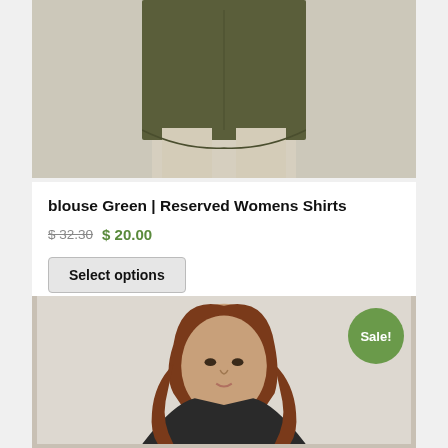[Figure (photo): Woman wearing an olive green long-sleeve blouse shirt with beige trousers, cropped at waist/torso level, upper product photo]
blouse Green | Reserved Womens Shirts
$ 32.30  $ 20.00
Select options
[Figure (photo): Woman with auburn hair wearing a dark top, partial view showing face and shoulders, second product photo with Sale! badge]